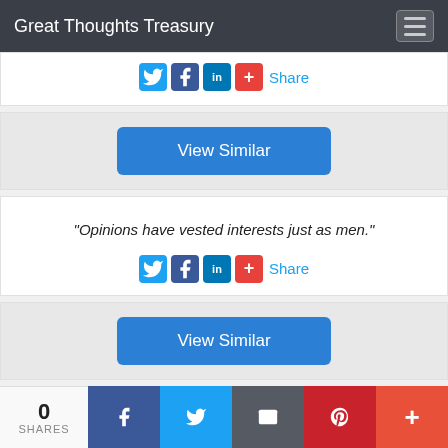Great Thoughts Treasury
[Figure (infographic): Social share icons row: Twitter, Facebook, LinkedIn, Google+ with Share label]
View Similar
"Opinions have vested interests just as men."
[Figure (infographic): Social share icons row: Twitter, Facebook, LinkedIn, Google+ with Share label]
View Similar
"Our latest moment is always our supreme moment. Five minutes delay in dinner now is more important
0 SHARES — Facebook, Twitter, Email, Pinterest, Plus share bar